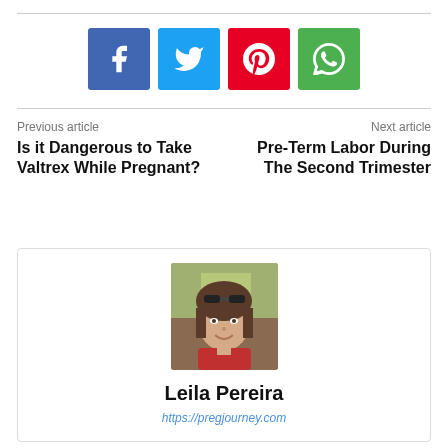[Figure (infographic): Social media share buttons: Facebook (blue), Twitter (light blue), Pinterest (red), WhatsApp (green)]
Previous article
Is it Dangerous to Take Valtrex While Pregnant?
Next article
Pre-Term Labor During The Second Trimester
[Figure (photo): Author photo of Leila Pereira — a woman with sunglasses on her head, smiling outdoors]
Leila Pereira
https://pregjourney.com